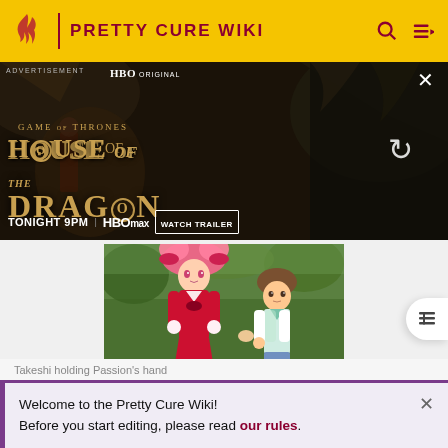PRETTY CURE WIKI
[Figure (photo): HBO Original advertisement for Game of Thrones: House of the Dragon, Tonight 9PM on HBO Max, Watch Trailer button shown]
[Figure (illustration): Anime screenshot of Takeshi holding Passion's hand, both characters standing outdoors]
Takeshi holding Passion's hand
Right away Setsuna begins to worry and attempts to run away. The girls convince her to stay and fight it, and
Welcome to the Pretty Cure Wiki!
Before you start editing, please read our rules.